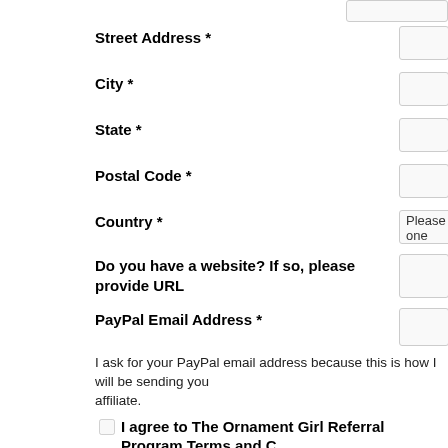Street Address *
City *
State *
Postal Code *
Country *
Do you have a website? If so, please provide URL
PayPal Email Address *
I ask for your PayPal email address because this is how I will be sending you your affiliate.
I agree to The Ornament Girl Referral Program Terms and C
Please read the Referral Program Terms & Conditions by clicking
Username *
Password *
Confirm Password *
Sign up!